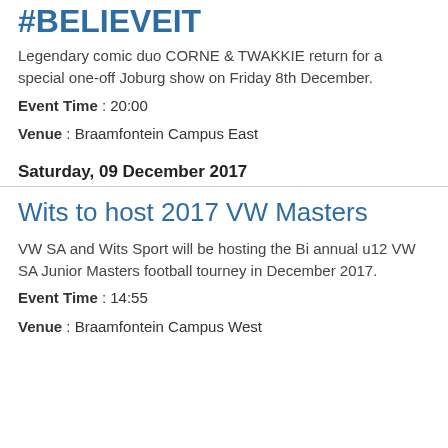#BELIEVEIT
Legendary comic duo CORNE & TWAKKIE return for a special one-off Joburg show on Friday 8th December.
Event Time : 20:00
Venue : Braamfontein Campus East
Saturday, 09 December 2017
Wits to host 2017 VW Masters
VW SA and Wits Sport will be hosting the Bi annual u12 VW SA Junior Masters football tourney in December 2017.
Event Time : 14:55
Venue : Braamfontein Campus West